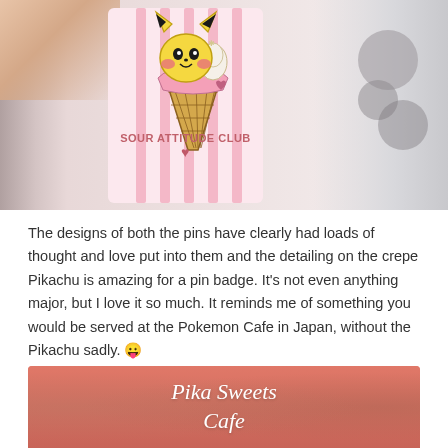[Figure (photo): A hand holding a pink card with a Pikachu crepe pin badge from Sour Attitude Club. The pin shows Pikachu sitting in an ice cream cone/crepe. Text on card reads 'SOUR ATTITUDE CLUB' with a heart. Background shows a blurred dog.]
The designs of both the pins have clearly had loads of thought and love put into them and the detailing on the crepe Pikachu is amazing for a pin badge. It's not even anything major, but I love it so much. It reminds me of something you would be served at the Pokemon Cafe in Japan, without the Pikachu sadly. 😛
[Figure (photo): Bottom portion of a photo showing a pink/salmon colored card or sign with white italic text reading 'Pika Sweets Cafe'.]